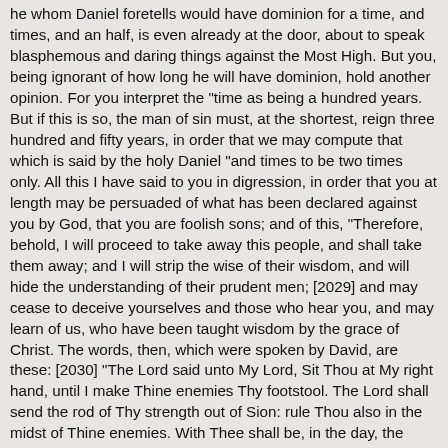he whom Daniel foretells would have dominion for a time, and times, and an half, is even already at the door, about to speak blasphemous and daring things against the Most High. But you, being ignorant of how long he will have dominion, hold another opinion. For you interpret the "time as being a hundred years. But if this is so, the man of sin must, at the shortest, reign three hundred and fifty years, in order that we may compute that which is said by the holy Daniel "and times to be two times only. All this I have said to you in digression, in order that you at length may be persuaded of what has been declared against you by God, that you are foolish sons; and of this, "Therefore, behold, I will proceed to take away this people, and shall take them away; and I will strip the wise of their wisdom, and will hide the understanding of their prudent men; [2029] and may cease to deceive yourselves and those who hear you, and may learn of us, who have been taught wisdom by the grace of Christ. The words, then, which were spoken by David, are these: [2030] "The Lord said unto My Lord, Sit Thou at My right hand, until I make Thine enemies Thy footstool. The Lord shall send the rod of Thy strength out of Sion: rule Thou also in the midst of Thine enemies. With Thee shall be, in the day, the chief of Thy power, in the beauties of Thy saints. From the womb, before the morning star, have I begotten Thee. The Lord hath sworn, and will not repent: Thou art a